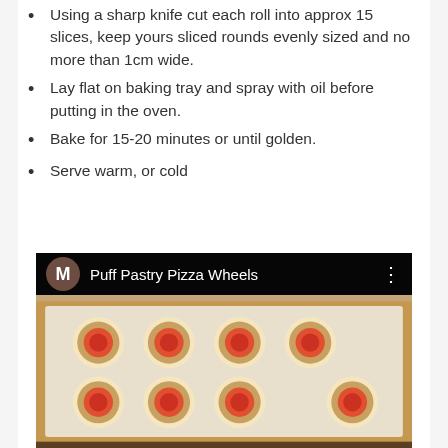Using a sharp knife cut each roll into approx 15 slices, keep yours sliced rounds evenly sized and no more than 1cm wide.
Lay flat on baking tray and spray with oil before putting in the oven.
Bake for 15-20 minutes or until golden.
Serve warm, or cold
[Figure (screenshot): A video thumbnail showing a YouTube-style player interface with a dark top bar containing a brown circular avatar with letter M, the title 'Puff Pastry Pizza Wheels', and a three-dot menu icon. The main image shows baked puff pastry pizza wheels arranged in two rows on baking paper on a tray.]